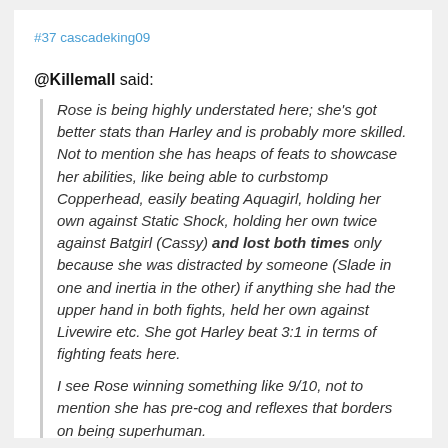#37 cascadeking09
@Killemall said:
Rose is being highly understated here; she's got better stats than Harley and is probably more skilled. Not to mention she has heaps of feats to showcase her abilities, like being able to curbstomp Copperhead, easily beating Aquagirl, holding her own against Static Shock, holding her own twice against Batgirl (Cassy) and lost both times only because she was distracted by someone (Slade in one and inertia in the other) if anything she had the upper hand in both fights, held her own against Livewire etc. She got Harley beat 3:1 in terms of fighting feats here.

I see Rose winning something like 9/10, not to mention she has pre-cog and reflexes that borders on being superhuman.
Actually the fight was interrupted with Rose on top of